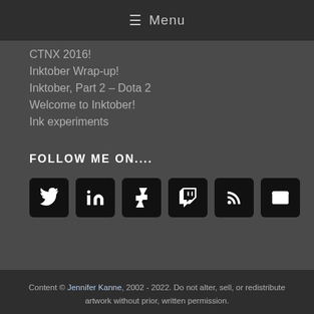≡ Menu
CTNX 2016!
Inktober Wrap-up!
Inktober, Part 2 – Dota 2
Welcome to Inktober!
Ink experiments
FOLLOW ME ON....
[Figure (other): Row of six social media icon buttons: Twitter, LinkedIn, DeviantArt, Twitch, RSS, Email]
Content © Jennifer Kanne, 2002 - 2022. Do not alter, sell, or redistribute artwork without prior, written permission.